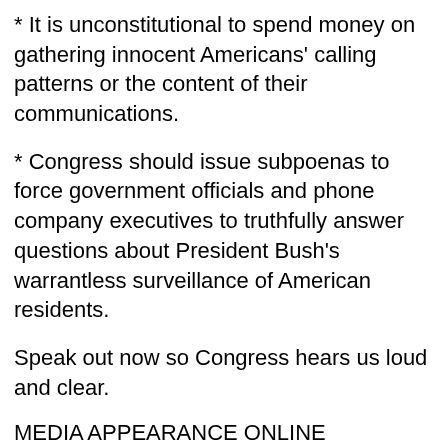* It is unconstitutional to spend money on gathering innocent Americans' calling patterns or the content of their communications.
* Congress should issue subpoenas to force government officials and phone company executives to truthfully answer questions about President Bush's warrantless surveillance of American residents.
Speak out now so Congress hears us loud and clear.
MEDIA APPEARANCE ONLINE
We support the bill in Congress to require the Federal Reserve to restart the reporting of the M3 number. Why? Because it allows the Fed to hide a portion of the currency being created just to pay the national debt. The increase in the monetary supply drives down the purchasing power of your dollar. Remember, currency devaluation is inflationary, and the...